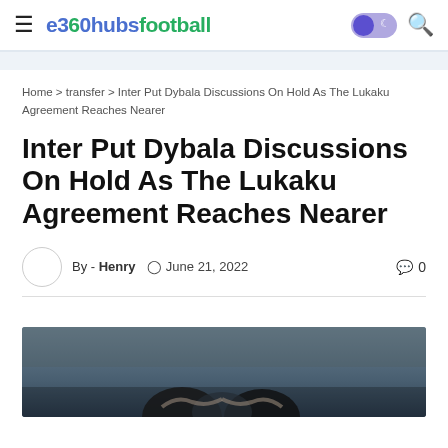e360hubsfootball — hamburger menu, dark mode toggle, search icon
Home > transfer > Inter Put Dybala Discussions On Hold As The Lukaku Agreement Reaches Nearer
Inter Put Dybala Discussions On Hold As The Lukaku Agreement Reaches Nearer
By - Henry  June 21, 2022  0 comments
[Figure (photo): Photo of football players, partial view showing people at bottom of image]